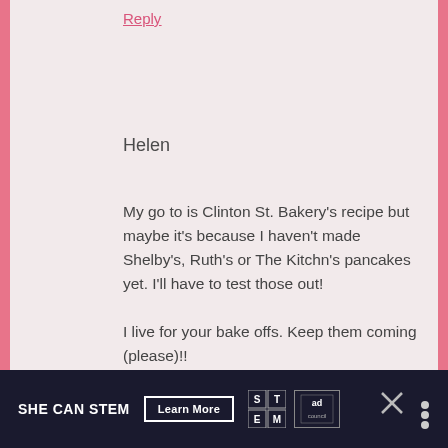Reply
Helen
My go to is Clinton St. Bakery's recipe but maybe it's because I haven't made Shelby's, Ruth's or The Kitchn's pancakes yet. I'll have to test those out!
I live for your bake offs. Keep them coming (please)!!
Reply
[Figure (infographic): SHE CAN STEM advertisement banner with dark navy background. Text reads 'SHE CAN STEM' with a 'Learn More' button, STEM logo grid, Ad Council logo, and close/branding icons on the right.]